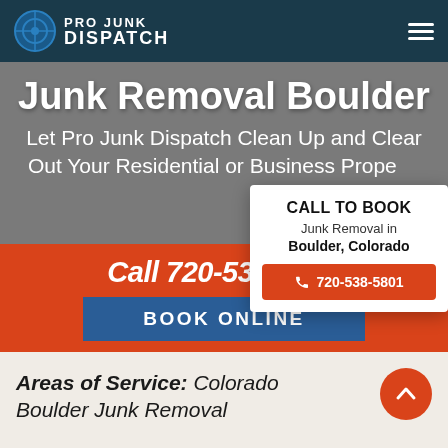Pro Junk Dispatch
Junk Removal Boulder
Let Pro Junk Dispatch Clean Up and Clear Out Your Residential or Business Property
Call 720-538-5801
BOOK ONLINE
[Figure (infographic): Call to Book popup card with phone number 720-538-5801 for Junk Removal in Boulder, Colorado]
Areas of Service: Colorado Boulder Junk Removal
Call 720-538-5801